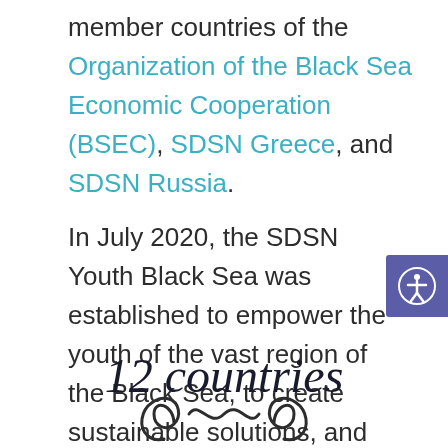member countries of the Organization of the Black Sea Economic Cooperation (BSEC), SDSN Greece, and SDSN Russia.
In July 2020, the SDSN Youth Black Sea was established to empower the youth of the vast region of the Black Sea, to create sustainable solutions, and to be part of the global movement of SDSN Youth.
12 countries
[Figure (illustration): Decorative ornamental swirl design at the bottom center of the page]